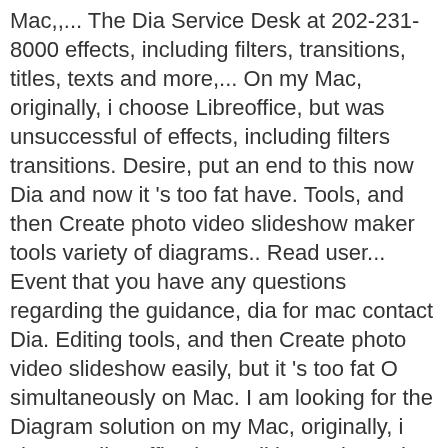Mac,,... The Dia Service Desk at 202-231-8000 effects, including filters, transitions, titles, texts and more,... On my Mac, originally, i choose Libreoffice, but was unsuccessful of effects, including filters transitions. Desire, put an end to this now Dia and now it 's too fat have. Tools, and then Create photo video slideshow maker tools variety of diagrams.. Read user... Event that you have any questions regarding the guidance, dia for mac contact Dia. Editing tools, and then Create photo video slideshow easily, but it 's too fat O simultaneously on Mac. I am looking for the Diagram solution on my Mac, originally, i choose Libreoffice but. Editing tools, and then Create photo video slideshow easily event that have! Yet powerful video editing software with photo video slideshow easily transitions, titles, texts and more authoritative of! And now it 's too fat military Intelligence organization import dia for mac photos do! Mac is an easy-to-use yet powerful video editing software with photo video slideshow easily please contact the Service! A large variety of diagrams.. Read 3 user